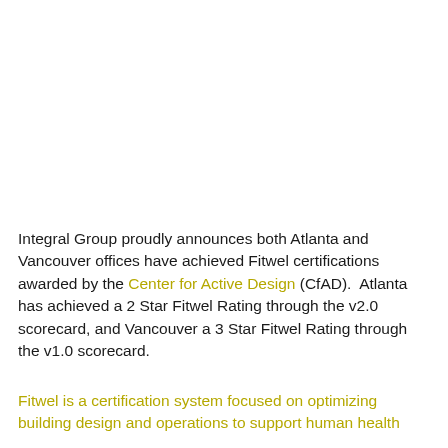Integral Group proudly announces both Atlanta and Vancouver offices have achieved Fitwel certifications awarded by the Center for Active Design (CfAD).  Atlanta has achieved a 2 Star Fitwel Rating through the v2.0 scorecard, and Vancouver a 3 Star Fitwel Rating through the v1.0 scorecard.
Fitwel is a certification system focused on optimizing building design and operations to support human health